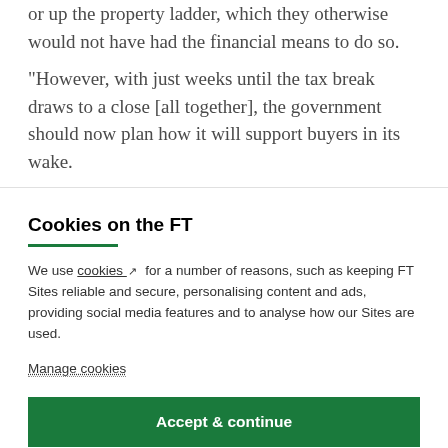or up the property ladder, which they otherwise would not have had the financial means to do so.
“However, with just weeks until the tax break draws to a close [all together], the government should now plan how it will support buyers in its wake.
Cookies on the FT
We use cookies ↗ for a number of reasons, such as keeping FT Sites reliable and secure, personalising content and ads, providing social media features and to analyse how our Sites are used.
Manage cookies
Accept & continue